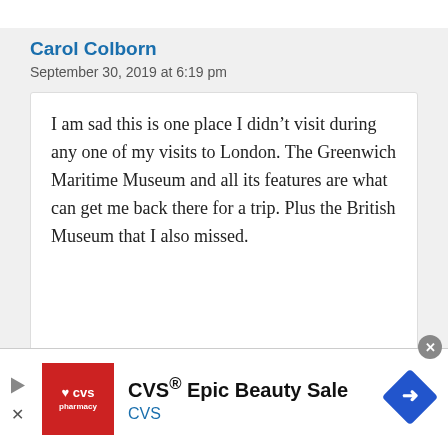Carol Colborn
September 30, 2019 at 6:19 pm
I am sad this is one place I didn't visit during any one of my visits to London. The Greenwich Maritime Museum and all its features are what can get me back there for a trip. Plus the British Museum that I also missed.
[Figure (infographic): CVS Pharmacy advertisement banner: CVS Epic Beauty Sale]